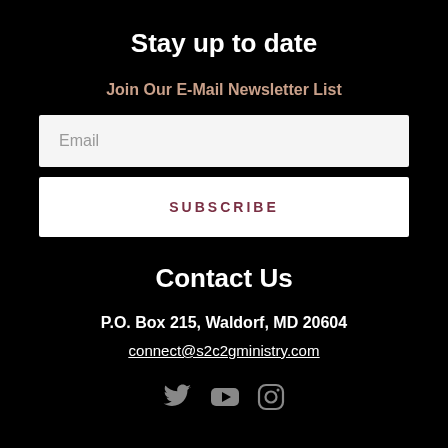Stay up to date
Join Our E-Mail Newsletter List
Email
SUBSCRIBE
Contact Us
P.O. Box 215, Waldorf, MD 20604
connect@s2c2gministry.com
[Figure (other): Social media icons: Twitter (bird), YouTube (play button), Instagram (camera)]